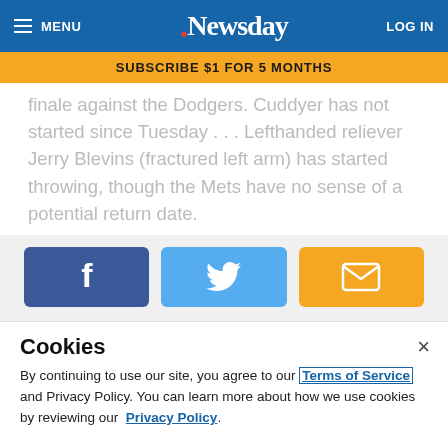MENU | Newsday | LOG IN
SUBSCRIBE $1 FOR 5 MONTHS
finale against the Dodgers. Cuddyer has not started since Tuesday . . . Lefthanded reliever Jerry Blevins (fractured left arm) has started throwing, though the Mets have no sense of a potential return date.
[Figure (infographic): Social share buttons: Facebook (blue), Twitter (light blue), Email (orange)]
Cookies
By continuing to use our site, you agree to our Terms of Service and Privacy Policy. You can learn more about how we use cookies by reviewing our Privacy Policy.